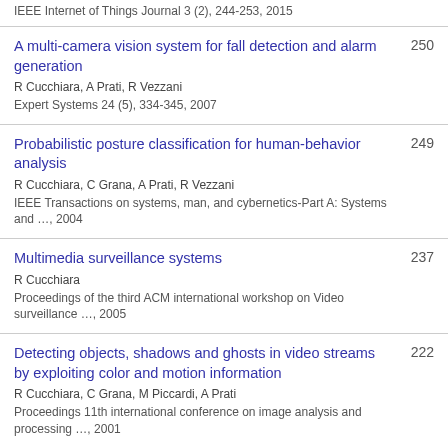IEEE Internet of Things Journal 3 (2), 244-253, 2015
A multi-camera vision system for fall detection and alarm generation
R Cucchiara, A Prati, R Vezzani
Expert Systems 24 (5), 334-345, 2007
250
Probabilistic posture classification for human-behavior analysis
R Cucchiara, C Grana, A Prati, R Vezzani
IEEE Transactions on systems, man, and cybernetics-Part A: Systems and …, 2004
249
Multimedia surveillance systems
R Cucchiara
Proceedings of the third ACM international workshop on Video surveillance …, 2005
237
Detecting objects, shadows and ghosts in video streams by exploiting color and motion information
R Cucchiara, C Grana, M Piccardi, A Prati
Proceedings 11th international conference on image analysis and processing …, 2001
222